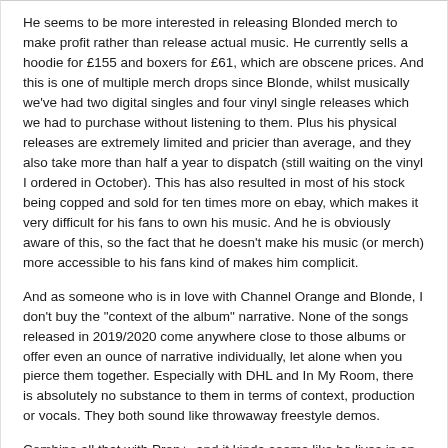He seems to be more interested in releasing Blonded merch to make profit rather than release actual music. He currently sells a hoodie for £155 and boxers for £61, which are obscene prices. And this is one of multiple merch drops since Blonde, whilst musically we've had two digital singles and four vinyl single releases which we had to purchase without listening to them. Plus his physical releases are extremely limited and pricier than average, and they also take more than half a year to dispatch (still waiting on the vinyl I ordered in October). This has also resulted in most of his stock being copped and sold for ten times more on ebay, which makes it very difficult for his fans to own his music. And he is obviously aware of this, so the fact that he doesn't make his music (or merch) more accessible to his fans kind of makes him complicit.
And as someone who is in love with Channel Orange and Blonde, I don't buy the "context of the album" narrative. None of the songs released in 2019/2020 come anywhere close to those albums or offer even an ounce of narrative individually, let alone when you pierce them together. Especially with DHL and In My Room, there is absolutely no substance to them in terms of context, production or vocals. They both sound like throwaway freestyle demos.
Combine all that with Prep+, and it kinda seems like he lives in an ignorant bubble.
Last edited by Omiros; Mon June 1, 2020, 17:02.